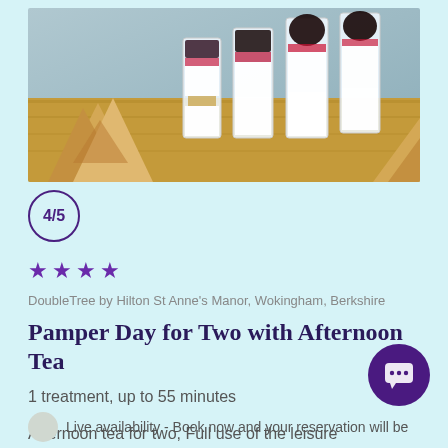[Figure (photo): A food photo showing small dessert glasses filled with cream and dark berry toppings, alongside triangular pastry/biscuit pieces on a wooden board.]
4/5
★ ★ ★ ★ (4 purple stars)
DoubleTree by Hilton St Anne's Manor, Wokingham, Berkshire
Pamper Day for Two with Afternoon Tea
1 treatment, up to 55 minutes
Afternoon tea for two, Full use of the leisure facilities, Complimentary use of towels and rob...
Live availability - Book now and your reservation will be...